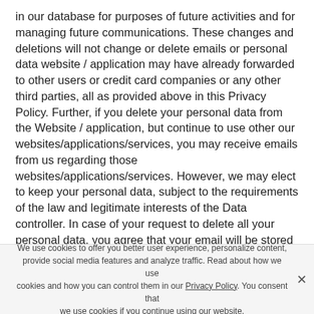in our database for purposes of future activities and for managing future communications. These changes and deletions will not change or delete emails or personal data website / application may have already forwarded to other users or credit card companies or any other third parties, all as provided above in this Privacy Policy. Further, if you delete your personal data from the Website / application, but continue to use other our websites/applications/services, you may receive emails from us regarding those websites/applications/services. However, we may elect to keep your personal data, subject to the requirements of the law and legitimate interests of the Data controller. In case of your request to delete all your personal data, you agree that your email will be stored in our database to avoid creation of duplicate accounts and for identification purposes. The email will not be used in marketing activities, nor forwarded to any partner websites or
We use cookies to offer you better user experience, personalize content, provide social media features and analyze traffic. Read about how we use cookies and how you can control them in our Privacy Policy. You consent that we use cookies if you continue using our website.